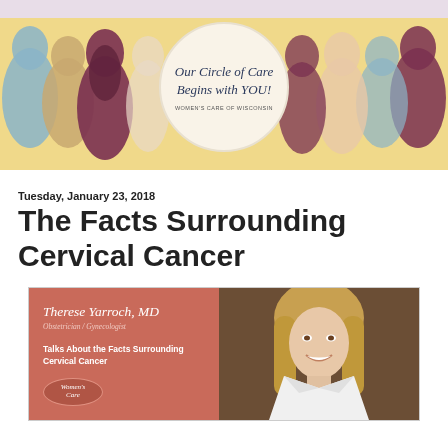[Figure (illustration): Women's Care of Wisconsin banner with colored silhouettes of women on a golden-yellow background and a circular logo in the center reading 'Our Circle of Care Begins with YOU! Women's Care of Wisconsin']
Tuesday, January 23, 2018
The Facts Surrounding Cervical Cancer
[Figure (photo): Promotional card with coral/salmon left panel showing Dr. Therese Yarroch, MD, Obstetrician/Gynecologist, Talks About the Facts Surrounding Cervical Cancer, with Women's Care logo, and right panel showing a photo of a blonde woman smiling in a white jacket]